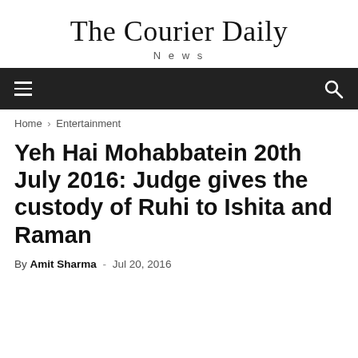The Courier Daily
News
Home › Entertainment
Yeh Hai Mohabbatein 20th July 2016: Judge gives the custody of Ruhi to Ishita and Raman
By Amit Sharma - Jul 20, 2016